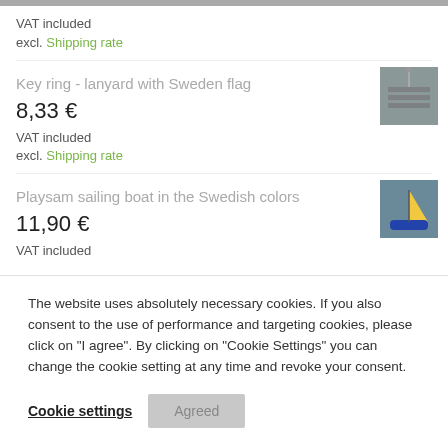VAT included
excl. Shipping rate
Key ring - lanyard with Sweden flag
8,33 €
VAT included
excl. Shipping rate
[Figure (photo): Thumbnail image of key ring lanyard with Sweden flag]
Playsam sailing boat in the Swedish colors
11,90 €
VAT included
[Figure (photo): Thumbnail image of Playsam sailing boat in Swedish colors (blue and yellow)]
The website uses absolutely necessary cookies. If you also consent to the use of performance and targeting cookies, please click on "I agree". By clicking on "Cookie Settings" you can change the cookie setting at any time and revoke your consent.
Cookie settings
Agreed